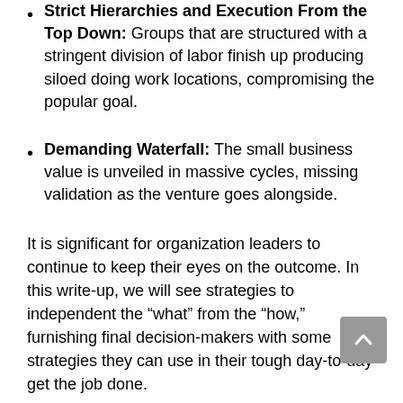Strict Hierarchies and Execution From the Top Down: Groups that are structured with a stringent division of labor finish up producing siloed doing work locations, compromising the popular goal.
Demanding Waterfall: The small business value is unveiled in massive cycles, missing validation as the venture goes alongside.
It is significant for organization leaders to continue to keep their eyes on the outcome. In this write-up, we will see strategies to independent the “what” from the “how,” furnishing final decision-makers with some strategies they can use in their tough day-to-day get the job done.
The Link Concerning Methodology